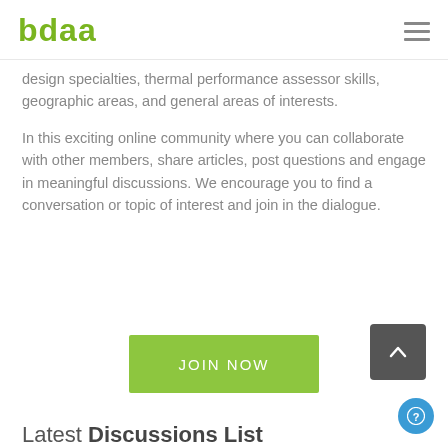bdaa
design specialties, thermal performance assessor skills, geographic areas, and general areas of interests.
In this exciting online community where you can collaborate with other members, share articles, post questions and engage in meaningful discussions. We encourage you to find a conversation or topic of interest and join in the dialogue.
[Figure (other): Green 'JOIN NOW' call-to-action button]
Latest Discussions List